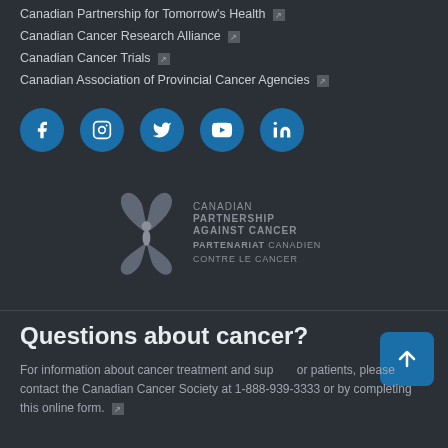Canadian Partnership for Tomorrow's Health ↗
Canadian Cancer Research Alliance ↗
Canadian Cancer Trials ↗
Canadian Association of Provincial Cancer Agencies ↗
[Figure (logo): Social media icons: Facebook, Instagram, Twitter, YouTube, LinkedIn — white icons on teal/blue circular backgrounds]
[Figure (logo): Canadian Partnership Against Cancer / Partenariat Canadien Contre Le Cancer logo with stylized butterfly/figure icon in grey]
Questions about cancer?
For information about cancer treatment and support for patients, please contact the Canadian Cancer Society at 1-888-939-3333 or by completing this online form. ↗